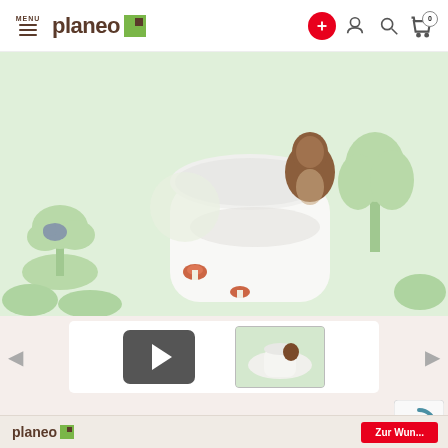MENU | planeo logo | icons: add, user, search, cart(0)
[Figure (photo): Rolled wallpaper with children's forest theme showing green trees and brown bear on light mint/green background]
[Figure (screenshot): Thumbnail strip with video play button thumbnail and image thumbnail of the wallpaper]
[Figure (logo): reCAPTCHA logo partially visible in bottom right]
[Figure (other): Bottom bar with planeo logo and red add to cart button]